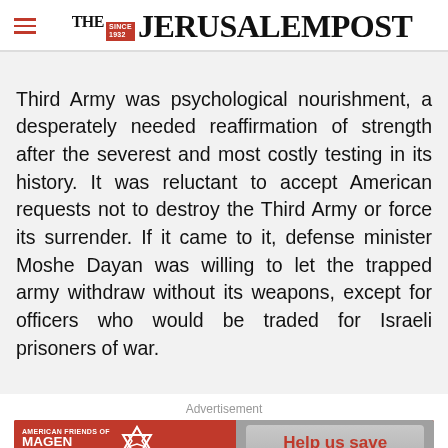THE JERUSALEM POST
Third Army was psychological nourishment, a desperately needed reaffirmation of strength after the severest and most costly testing in its history. It was reluctant to accept American requests not to destroy the Third Army or force its surrender. If it came to it, defense minister Moshe Dayan was willing to let the trapped army withdraw without its weapons, except for officers who would be traded for Israeli prisoners of war.
Advertisement
[Figure (other): Magen David Adom advertisement banner with red background, Star of David, Hebrew text, and 'Help us save lives in Israel' call to action button]